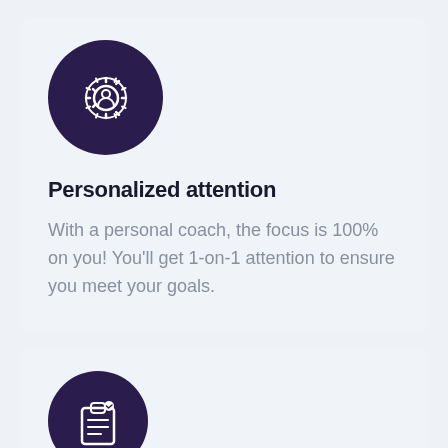[Figure (illustration): Dark purple circle with a white gear/settings icon featuring a person silhouette in the center]
Personalized attention
With a personal coach, the focus is 100% on you! You'll get 1-on-1 attention to ensure you meet your goals.
[Figure (illustration): Dark purple circle with a white clipboard icon, partially visible at bottom of page]